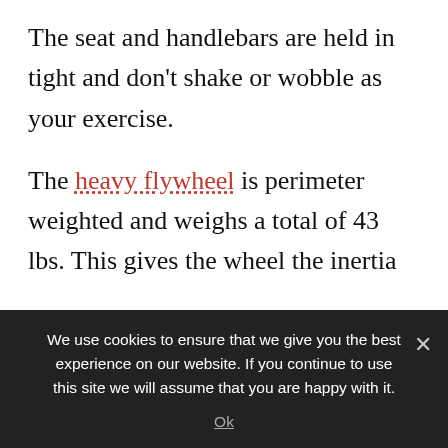The seat and handlebars are held in tight and don't shake or wobble as your exercise.
The heavy flywheel is perimeter weighted and weighs a total of 43 lbs. This gives the wheel the inertia to pull the pedals through the whole stroke giving you a 360 degree pedal stroke that is more natural feeling as there is no stop/start to the motion.
The guards over the moving parts and the paint
We use cookies to ensure that we give you the best experience on our website. If you continue to use this site we will assume that you are happy with it.
Ok